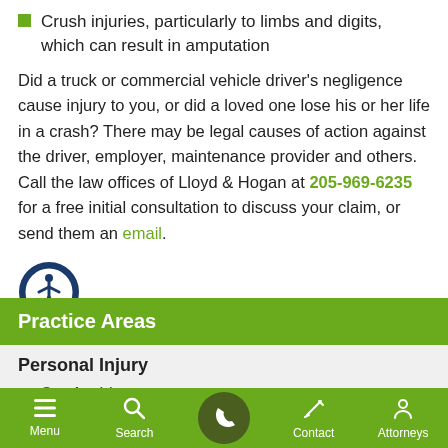Crush injuries, particularly to limbs and digits, which can result in amputation
Did a truck or commercial vehicle driver's negligence cause injury to you, or did a loved one lose his or her life in a crash? There may be legal causes of action against the driver, employer, maintenance provider and others. Call the law offices of Lloyd & Hogan at 205-969-6235 for a free initial consultation to discuss your claim, or send them an email.
[Figure (illustration): Accessibility icon — person in circle with dark blue border]
Practice Areas
Personal Injury
Car Accidents
Menu  Search  Contact  Attorneys